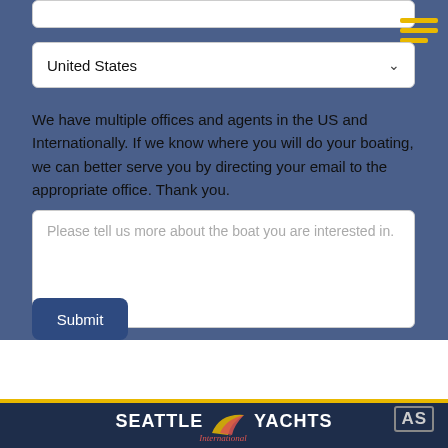[Figure (screenshot): Partial text input field at top of form, cut off]
[Figure (infographic): Hamburger menu icon with three gold/yellow horizontal bars in upper right]
United States
We have multiple offices and agents in the US and Internationally. If we know where you will do your boating, we can better serve you by directing your email to the appropriate office. Thank you.
Please tell us more about the boat you are interested in.
Submit
[Figure (logo): Seattle International Yachts logo with swoosh/wing graphic in footer. AS logo in bottom right corner.]